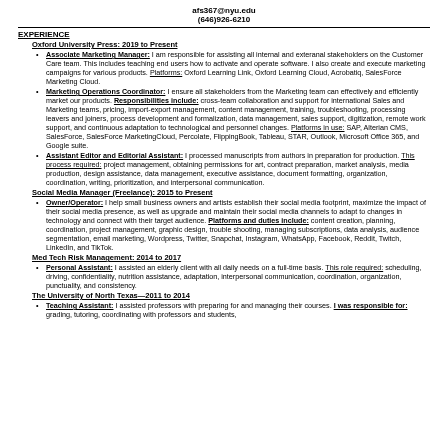afs367@nyu.edu
(646)926-6210
EXPERIENCE
Oxford University Press: 2019 to Present
Associate Marketing Manager: I am responsible for assisting all internal and exteranal stakeholders on the Customer Care team. This includes teaching end users how to activate and operate software. I also create and execute marketing campaigns for various products. Platforms: Oxford Learning Link, Oxford Learning Cloud, Acrobatiq, SalesForce Marketing Cloud.
Marketing Operations Coordinator: I ensure all stakeholders from the Marketing team can effectively and efficiently market our products. Responsibilities include: cross-team collaboration and support for international Sales and Marketing teams, pricing, import-export management, content management, training, troubleshooting, processing leavers and joiners, process development and formalization, data management, sales support, digitization, remote work support, and continuous adaptation to technological and personnel changes. Platforms in use: SAP, Alterian CMS, SalesForce, SalesForce MarketingCloud, Percolate, FlippingBook, Tableau, STAR, Outlook, Microsoft Office 365, and Google suite.
Assistant Editor and Editorial Assistant: I processed manuscripts from authors in preparation for production. This process required: project management, obtaining permissions for art, contract preparation, market analysis, media production, design assistance, data management, executive assistance, document formatting, organization, coordination, writing, prioritization, and interpersonal communication.
Social Media Manager (Freelance): 2015 to Present
Owner/Operator: I help small business owners and artists establish their social media footprint, maximize the impact of their social media presence, as well as upgrade and maintain their social media channels to adapt to changes in technology and connect with their target audience. Platforms and duties include: content creation, planning, coordination, project management, graphic design, trouble shooting, managing subscriptions, data analysis, audience segmentation, email marketing, Wordpress, Twitter, Snapchat, Instagram, WhatsApp, Facebook, Reddit, Twitch, LinkedIn, and TikTok.
Med Tech Risk Management: 2014 to 2017
Personal Assistant: I assisted an elderly client with all daily needs on a full-time basis. This role required: scheduling, driving, confidentiality, nutrition assistance, adaptation, interpersonal communication, coordination, organization, punctuality, and consistency.
The University of North Texas—2011 to 2014
Teaching Assistant: I assisted professors with preparing for and managing their courses. I was responsible for: grading, tutoring, coordinating with professors and students,